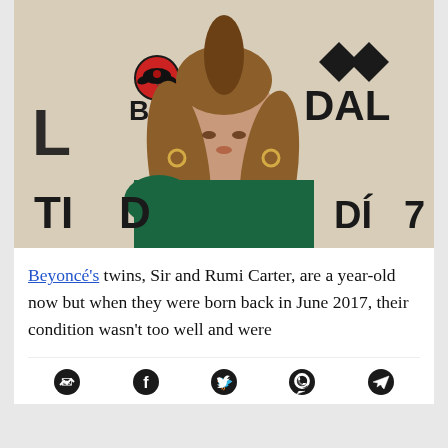[Figure (photo): Photo of Beyoncé at a TIDAL/BACARDI event, wearing a green one-shoulder dress, with long wavy hair. Event signage visible in background showing 'BACARDI', 'TIDAL', and 'DAL' logos.]
Beyoncé's twins, Sir and Rumi Carter, are a year-old now but when they were born back in June 2017, their condition wasn't too well and were